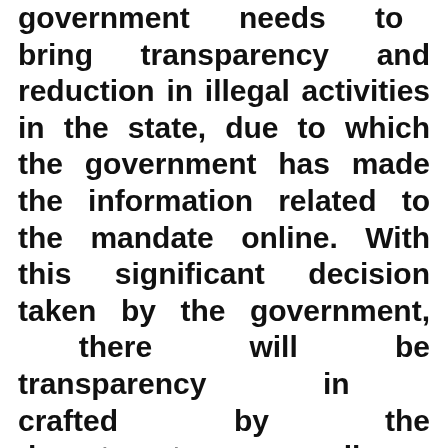government needs to bring transparency and reduction in illegal activities in the state, due to which the government has made the information related to the mandate online. With this significant decision taken by the government, there will be transparency in crafted by the departments as well as awareness will come among the citizens of the state. Presently any citizen of the state can see the orders issued by the UP government on his mobile, computer or PC through online medium. If you have any desire to see the UP mandate